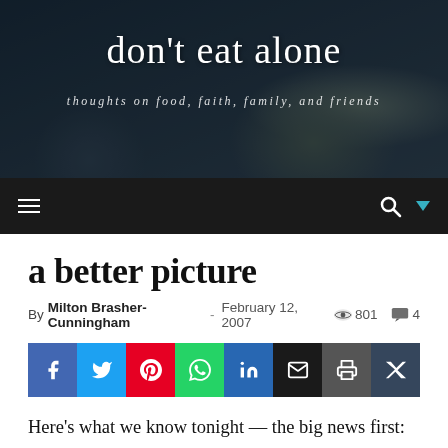[Figure (photo): Blog header banner with dark background showing blurred hands on a table, overlaid with blog title and subtitle text]
don't eat alone
thoughts on food, faith, family, and friends
Navigation bar with hamburger menu, search icon, and dropdown arrow
a better picture
By Milton Brasher-Cunningham – February 12, 2007   801   4
[Figure (infographic): Row of 8 social share buttons: Facebook (blue), Twitter (light blue), Pinterest (red), WhatsApp (green), LinkedIn (blue), Email (black), Print (gray), Tumblr (dark blue)]
Here's what we know tonight — the big news first: Reuben's pathology reports came back this afternoon and they showed no lymph node involvement. They found nothing beyond the tennis ball-sized tumor they took out when they removed the lobe of his lung, even though the type of cancer has shown